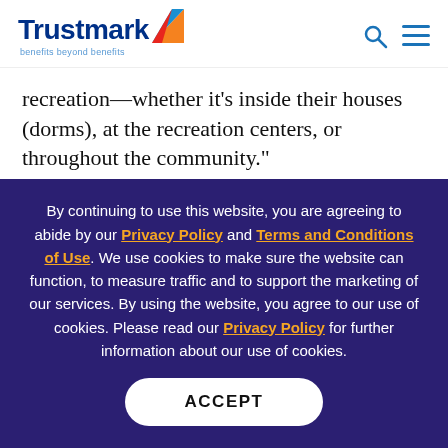[Figure (logo): Trustmark logo with colorful triangle icon and tagline 'benefits beyond benefits']
recreation—whether it's inside their houses (dorms), at the recreation centers, or throughout the community."
Planting the seeds of engagement
Incoming Harvard freshman are required to live together
By continuing to use this website, you are agreeing to abide by our Privacy Policy and Terms and Conditions of Use. We use cookies to make sure the website can function, to measure traffic and to support the marketing of our services. By using the website, you agree to our use of cookies. Please read our Privacy Policy for further information about our use of cookies.
ACCEPT